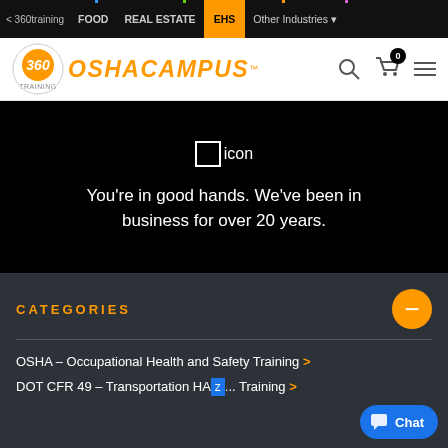< 360training | FOOD | REAL ESTATE | EHS | Other Industries
[Figure (logo): 360training OSHA Campus logo with orange 360 circle and orange OSHACAMPUS text]
icon
You’re in good hands. We’ve been in business for over 20 years.
CATEGORIES
OSHA – Occupational Health and Safety Training >
DOT CFR 49 – Transportation HA... Training >